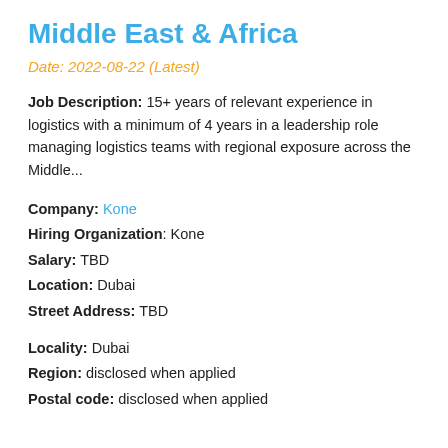Middle East & Africa
Date: 2022-08-22 (Latest)
Job Description: 15+ years of relevant experience in logistics with a minimum of 4 years in a leadership role managing logistics teams with regional exposure across the Middle...
Company: Kone
Hiring Organization: Kone
Salary: TBD
Location: Dubai
Street Address: TBD
Locality: Dubai
Region: disclosed when applied
Postal code: disclosed when applied